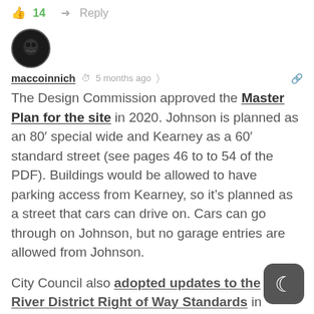👍 14   ➤ Reply
[Figure (photo): User avatar — circular dark profile image of maccoinnich]
maccoinnich  🕐 5 months ago  🔗
The Design Commission approved the Master Plan for the site in 2020. Johnson is planned as an 80' special wide and Kearney as a 60' standard street (see pages 46 to to 54 of the PDF). Buildings would be allowed to have parking access from Kearney, so it's planned as a street that cars can drive on. Cars can go through on Johnson, but no garage entries are allowed from Johnson.
City Council also adopted updates to the River District Right of Way Standards in